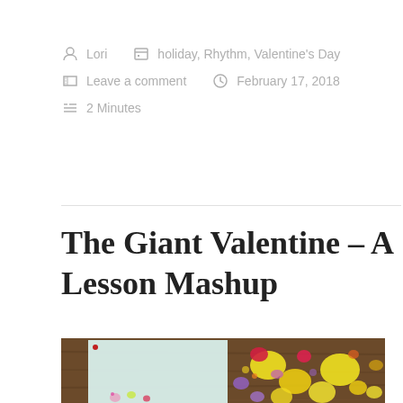Lori   holiday, Rhythm, Valentine's Day   Leave a comment   February 17, 2018   2 Minutes
The Giant Valentine – A Lesson Mashup
[Figure (photo): Photo of a large white sheet of paper on a wooden table with colorful paper heart cutouts scattered around it in yellow, red, pink, and purple.]